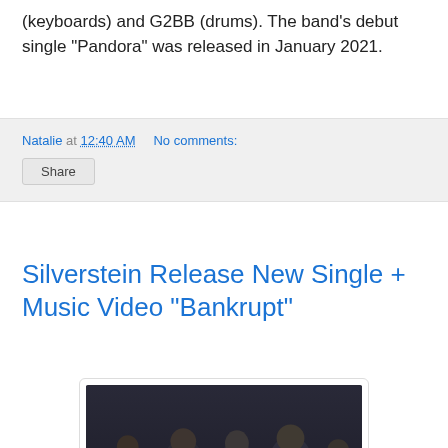(keyboards) and G2BB (drums). The band's debut single "Pandora" was released in January 2021.
Natalie at 12:40 AM   No comments:
Share
Silverstein Release New Single + Music Video "Bankrupt"
[Figure (photo): Group photo of five male band members standing together against a dark background, wearing dark clothing]